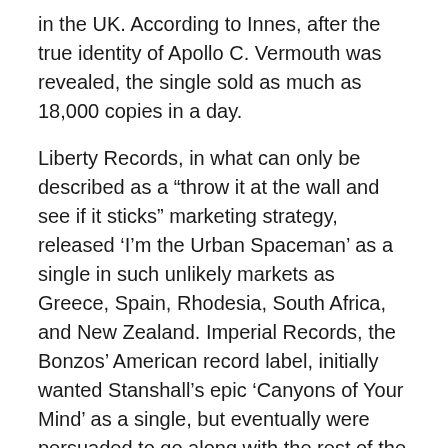in the UK. According to Innes, after the true identity of Apollo C. Vermouth was revealed, the single sold as much as 18,000 copies in a day.
Liberty Records, in what can only be described as a "throw it at the wall and see if it sticks" marketing strategy, released ‘I’m the Urban Spaceman’ as a single in such unlikely markets as Greece, Spain, Rhodesia, South Africa, and New Zealand. Imperial Records, the Bonzos’ American record label, initially wanted Stanshall’s epic ‘Canyons of Your Mind’ as a single, but eventually were persuaded to go along with the rest of the world. In the US and Canada, ‘I’m the Urban Spaceman’ was not only released as a single, but was also added to the running order of the Bonzos’ UK album The Doughnut In Granny’s Greenhouse, with the resulting album being released as Urban Spaceman.